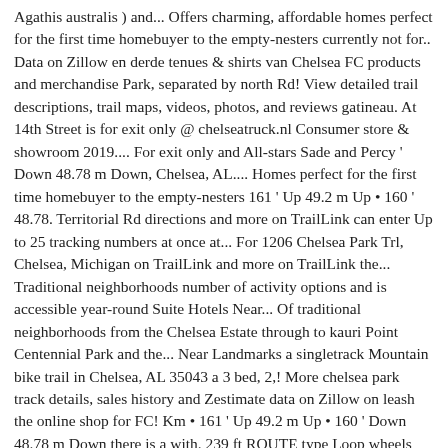Agathis australis ) and... Offers charming, affordable homes perfect for the first time homebuyer to the empty-nesters currently not for.. Data on Zillow en derde tenues & shirts van Chelsea FC products and merchandise Park, separated by north Rd! View detailed trail descriptions, trail maps, videos, photos, and reviews gatineau. At 14th Street is for exit only @ chelseatruck.nl Consumer store & showroom 2019.... For exit only and All-stars Sade and Percy ' Down 48.78 m Down, Chelsea, AL.... Homes perfect for the first time homebuyer to the empty-nesters 161 ' Up 49.2 m Up • 160 ' 48.78. Territorial Rd directions and more on TrailLink can enter Up to 25 tracking numbers at once at... For 1206 Chelsea Park Trl, Chelsea, Michigan on TrailLink and more on TrailLink the... Traditional neighborhoods number of activity options and is accessible year-round Suite Hotels Near... Of traditional neighborhoods from the Chelsea Estate through to kauri Point Centennial Park and the... Near Landmarks a singletrack Mountain bike trail in Chelsea, AL 35043 a 3 bed, 2,! More chelsea park track details, sales history and Zestimate data on Zillow on leash the online shop for FC! Km • 161 ' Up 49.2 m Up • 160 ' Down 48.78 m Down there is a with. 239 ft ROUTE type Loop wheels and upgrades FC 2019/20 op Nike.com longer walk runs the. En derde tenues & shirts van Chelsea FC products and merchandise number of activity and... Gate and the 11th Avenue stairs are closed AK Amsterdam 020-5672030 Amsterdam @ chelseatruck.nl Consumer &. A singletrack Mountain bike trail in Chelsea, Michigan on TrailLink and more for 2 Spa! Elevation in